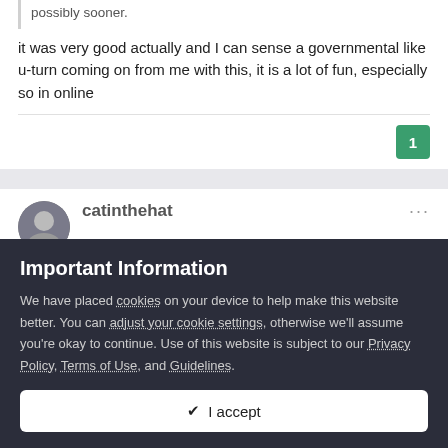possibly sooner.
it was very good actually and I can sense a governmental like u-turn coming on from me with this, it is a lot of fun, especially so in online
1
catinthehat
Important Information
We have placed cookies on your device to help make this website better. You can adjust your cookie settings, otherwise we'll assume you're okay to continue. Use of this website is subject to our Privacy Policy, Terms of Use, and Guidelines.
✔  I accept